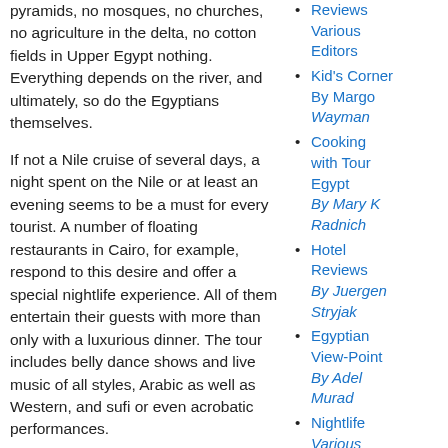pyramids, no mosques, no churches, no agriculture in the delta, no cotton fields in Upper Egypt nothing. Everything depends on the river, and ultimately, so do the Egyptians themselves.
If not a Nile cruise of several days, a night spent on the Nile or at least an evening seems to be a must for every tourist. A number of floating restaurants in Cairo, for example, respond to this desire and offer a special nightlife experience. All of them entertain their guests with more than only with a luxurious dinner. The tour includes belly dance shows and live music of all styles, Arabic as well as Western, and sufi or even acrobatic performances.
The most luxurious of these boats is the Marriott Nile Maxim, which imitates an old flat Pharaonic barge. The food is excellent, the live band plays and sings Arabic classics as well
Reviews Various Editors
Kid's Corner By Margo Wayman
Cooking with Tour Egypt By Mary K Radnich
Hotel Reviews By Juergen Stryjak
Egyptian View-Point By Adel Murad
Nightlife Various Editors
Restaurant Reviews